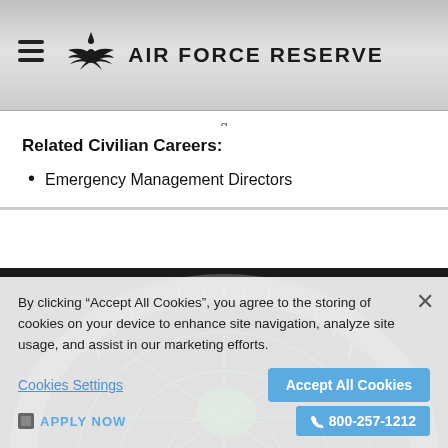AIR FORCE RESERVE
g
Related Civilian Careers:
Emergency Management Directors
[Figure (photo): Radar screen with green and yellow illuminated display on dark background, Air Force Reserve context]
By clicking “Accept All Cookies”, you agree to the storing of cookies on your device to enhance site navigation, analyze site usage, and assist in our marketing efforts.
Cookies Settings
Accept All Cookies
APPLY NOW
800-257-1212